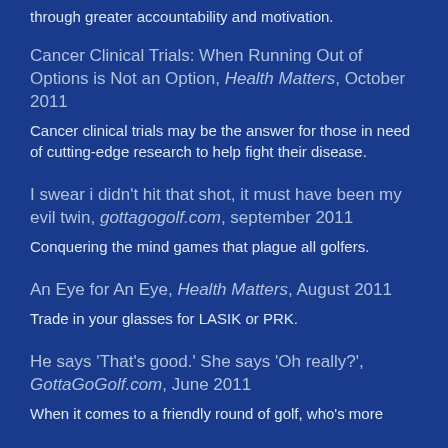through greater accountability and motivation.
Cancer Clinical Trials: When Running Out of Options is Not an Option, Health Matters, October 2011
Cancer clinical trials may be the answer for those in need of cutting-edge research to help fight their disease.
I swear i didn't hit that shot, it must have been my evil twin, gottagogolf.com, september 2011
Conquering the mind games that plague all golfers.
An Eye for An Eye, Health Matters, August 2011
Trade in your glasses for LASIK or PRK.
He says 'That's good.' She says 'Oh really?', GottaGoGolf.com, June 2011
When it comes to a friendly round of golf, who's more